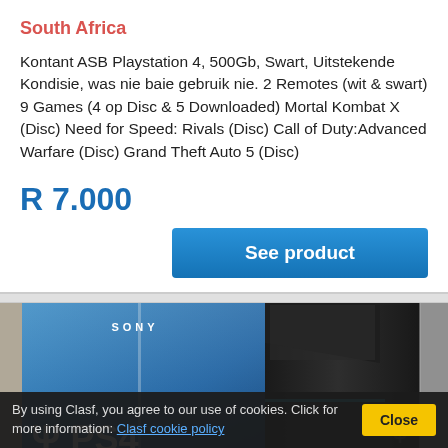South Africa
Kontant ASB Playstation 4, 500Gb, Swart, Uitstekende Kondisie, was nie baie gebruik nie. 2 Remotes (wit & swart) 9 Games (4 op Disc & 5 Downloaded) Mortal Kombat X (Disc) Need for Speed: Rivals (Disc) Call of Duty:Advanced Warfare (Disc) Grand Theft Auto 5 (Disc)
R 7.000
See product
[Figure (photo): Sony PS4 console box with blue background showing PlayStation 4 logo, and a black PS4 console unit on the right]
By using Clasf, you agree to our use of cookies. Click for more information: Clasf cookie policy
Close